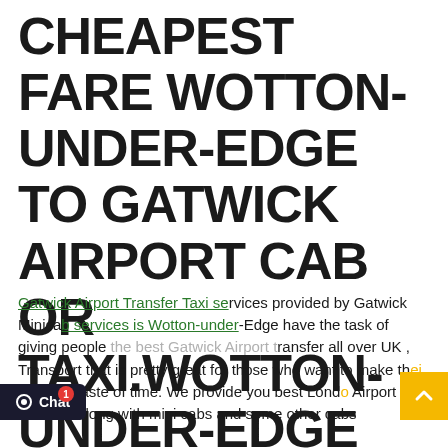CHEAPEST FARE WOTTON-UNDER-EDGE TO GATWICK AIRPORT CAB OR TAXI.WOTTON-UNDER-EDGE
Gatwick Airport Transfer Taxi services provided by Gatwick Minicab services is Wotton-under-Edge have the task of giving people the best Gatwick Airport transfer all over UK , Transport that is pretty great for those who want to make their without waste of time. We provide you best London Airport Taxi services along with mini cabs and some other cabs